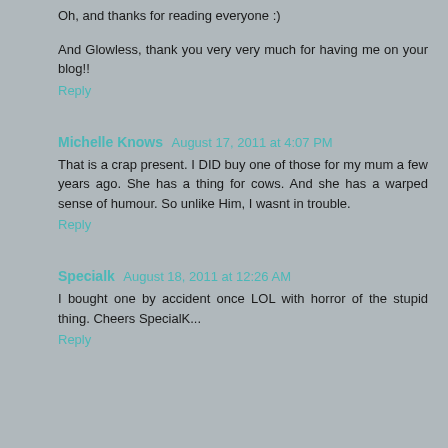Oh, and thanks for reading everyone :)
And Glowless, thank you very very much for having me on your blog!!
Reply
Michelle Knows August 17, 2011 at 4:07 PM
That is a crap present. I DID buy one of those for my mum a few years ago. She has a thing for cows. And she has a warped sense of humour. So unlike Him, I wasnt in trouble.
Reply
Specialk August 18, 2011 at 12:26 AM
I bought one by accident once LOL with horror of the stupid thing. Cheers SpecialK...
Reply